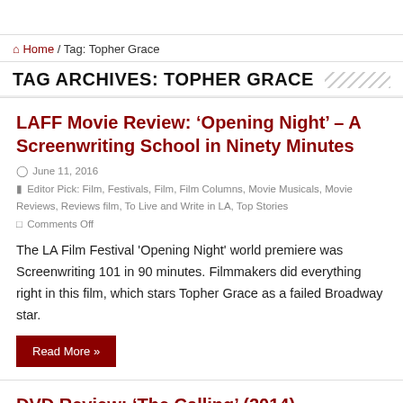Home / Tag: Topher Grace
TAG ARCHIVES: TOPHER GRACE
LAFF Movie Review: ‘Opening Night’ – A Screenwriting School in Ninety Minutes
June 11, 2016
Editor Pick: Film, Festivals, Film, Film Columns, Movie Musicals, Movie Reviews, Reviews film, To Live and Write in LA, Top Stories
Comments Off
The LA Film Festival 'Opening Night' world premiere was Screenwriting 101 in 90 minutes. Filmmakers did everything right in this film, which stars Topher Grace as a failed Broadway star.
Read More »
DVD Review: ‘The Calling’ (2014)